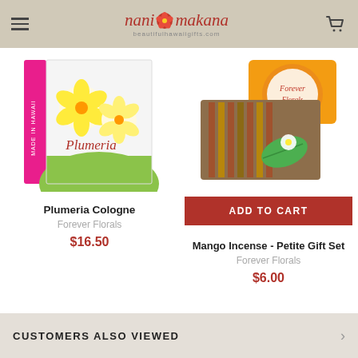nani makana — beautifulhawaiigifts.com
[Figure (photo): Plumeria cologne box with pink border and plumeria flower design, 'Made in Hawaii' text visible]
[Figure (photo): Mango Incense Petite Gift Set box, orange and brown wooden incense sticks in open box]
Plumeria Cologne
Forever Florals
$16.50
ADD TO CART
Mango Incense - Petite Gift Set
Forever Florals
$6.00
CUSTOMERS ALSO VIEWED